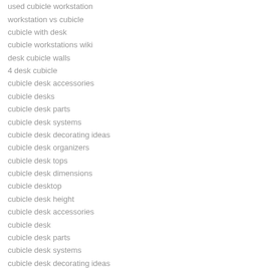used cubicle workstation
workstation vs cubicle
cubicle with desk
cubicle workstations wiki
desk cubicle walls
4 desk cubicle
cubicle desk accessories
cubicle desks
cubicle desk parts
cubicle desk systems
cubicle desk decorating ideas
cubicle desk organizers
cubicle desk tops
cubicle desk dimensions
cubicle desktop
cubicle desk height
cubicle desk accessories
cubicle desk
cubicle desk parts
cubicle desk systems
cubicle desk decorating ideas
cubicle desk organizers